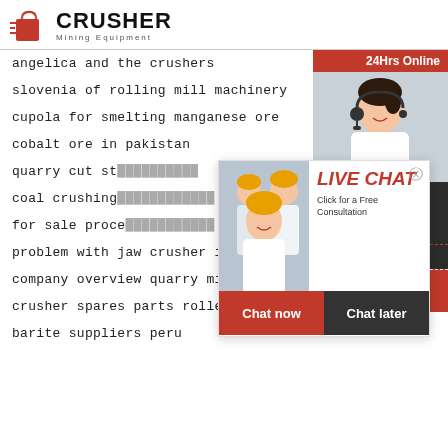[Figure (logo): Crusher Mining Equipment logo with red shopping bag icon and bold black CRUSHER text]
angelica and the crushers
slovenia of rolling mill machinery
cupola for smelting manganese ore
cobalt ore in pakistan
quarry cut st...
coal crushing...
for sale proce...
problem with jaw crusher iron ore
company overview quarry mining
crusher spares parts roller
barite suppliers peru
[Figure (photo): Live Chat popup with workers in hard hats and a customer service representative with headset. Contains LIVE CHAT title, Click for a Free Consultation text, Chat now and Chat later buttons]
[Figure (infographic): Right sidebar with 24Hrs Online, customer service photo, Need questions & suggestion with Chat Now button, Enquiry section, and limingjlmofen@sina.com contact]